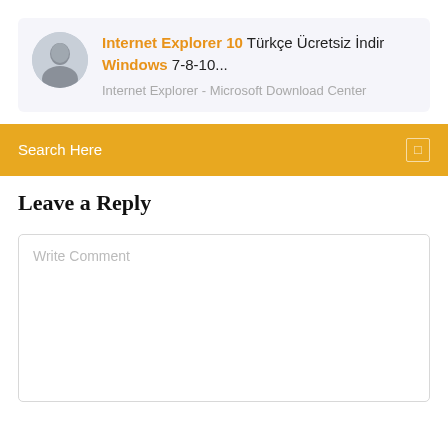[Figure (other): Search result card with avatar photo of a man, showing a link titled 'Internet Explorer 10 Türkçe Ücretsiz İndir Windows 7-8-10...' with subtitle 'Internet Explorer - Microsoft Download Center']
Search Here
Leave a Reply
Write Comment